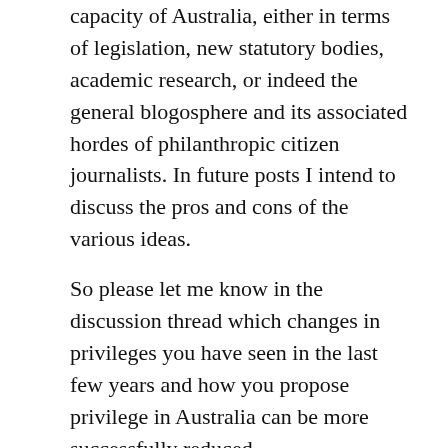capacity of Australia, either in terms of legislation, new statutory bodies, academic research, or indeed the general blogosphere and its associated hordes of philanthropic citizen journalists. In future posts I intend to discuss the pros and cons of the various ideas.
So please let me know in the discussion thread which changes in privileges you have seen in the last few years and how you propose privilege in Australia can be more successfully reduced.
Share this: